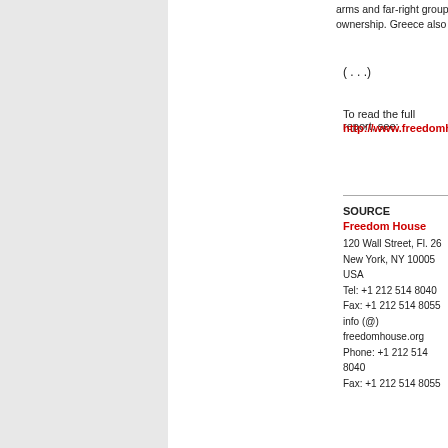arms and far-right groups, and concerns about media ownership. Greece also suffered a signifi...
( . . .)
To read the full report, see:
http://www.freedomhouse.org/uploads
SOURCE
Freedom House
120 Wall Street, Fl. 26
New York, NY 10005
USA
Tel: +1 212 514 8040
Fax: +1 212 514 8055
info (@) freedomhouse.org
Phone: +1 212 514 8040
Fax: +1 212 514 8055
[Figure (logo): Freedom House logo with torch and blue background]